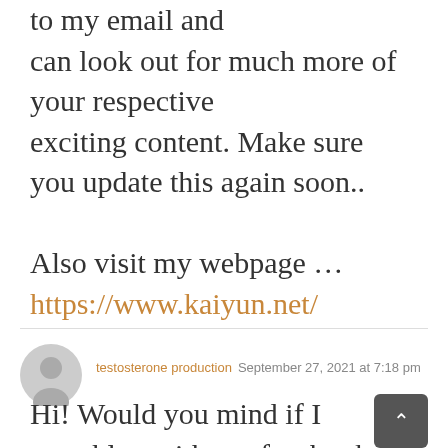to my email and can look out for much more of your respective exciting content. Make sure you update this again soon..
Also visit my webpage … https://www.kaiyun.net/
testosterone production  September 27, 2021 at 7:18 pm
Hi! Would you mind if I share your blog with my facebook